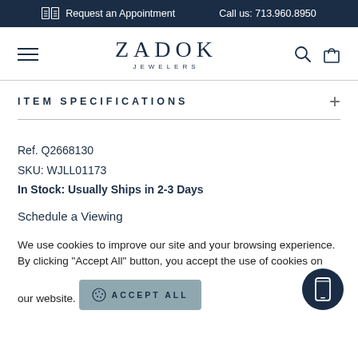Request an Appointment   Call us: 713.960.8950
[Figure (logo): Zadok Jewelers logo with hamburger menu, search and cart icons]
ITEM SPECIFICATIONS
Ref. Q2668130
SKU: WJLL01173
In Stock: Usually Ships in 2-3 Days
Schedule a Viewing
We use cookies to improve our site and your browsing experience. By clicking "Accept All" button, you accept the use of cookies on our website.
ACCEPT ALL